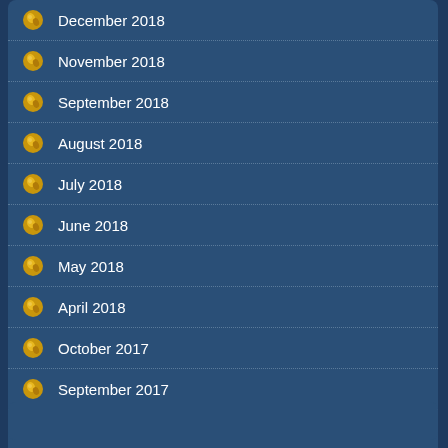December 2018
November 2018
September 2018
August 2018
July 2018
June 2018
May 2018
April 2018
October 2017
September 2017
August 2017
July 2017